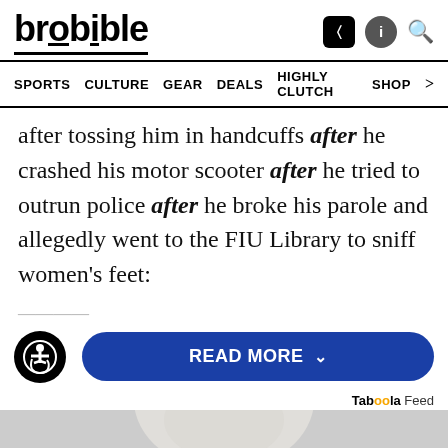brobible
SPORTS  CULTURE  GEAR  DEALS  HIGHLY CLUTCH  SHOP
after tossing him in handcuffs after he crashed his motor scooter after he tried to outrun police after he broke his parole and allegedly went to the FIU Library to sniff women's feet:
[Figure (other): READ MORE button with accessibility icon]
Taboola Feed
[Figure (photo): Partially visible gray-toned image at bottom of page]